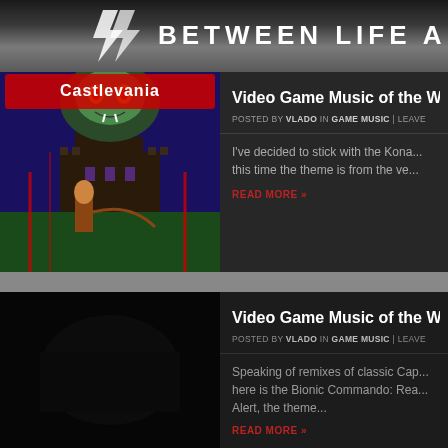BETWEEN LIFE AND
Video Game Music of the Week
POSTED BY VLADO IN GAME MUSIC | LEAVE
I've decided to stick with the Kona... this time the theme is from the ve...
READ MORE »
[Figure (illustration): Castlevania game cover art showing a warrior with a whip and a large monster/vampire above a gothic castle]
Video Game Music of the Week
POSTED BY VLADO IN GAME MUSIC | LEAVE
Speaking of remixes of classic Cap... here is the Bionic Commando: Rea... Alert, the theme...
READ MORE »